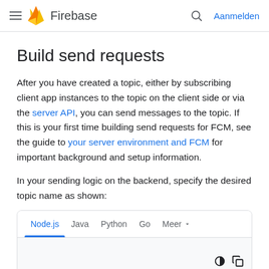Firebase — Aanmelden
Build send requests
After you have created a topic, either by subscribing client app instances to the topic on the client side or via the server API, you can send messages to the topic. If this is your first time building send requests for FCM, see the guide to your server environment and FCM for important background and setup information.
In your sending logic on the backend, specify the desired topic name as shown:
[Figure (screenshot): Code tab bar with tabs: Node.js (active, blue), Java, Python, Go, Meer (with dropdown arrow). Below the tabs is a dark code area with copy and theme icons in the bottom right.]